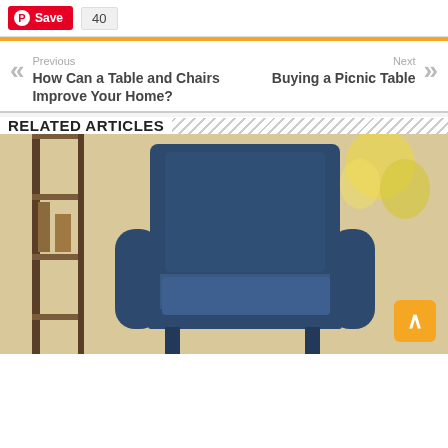Save 40
Previous
How Can a Table and Chairs Improve Your Home?
Next
Buying a Picnic Table
RELATED ARTICLES
[Figure (photo): Blue upholstered armchair in a room with a wooden shelf unit and yellow flowers in the background]